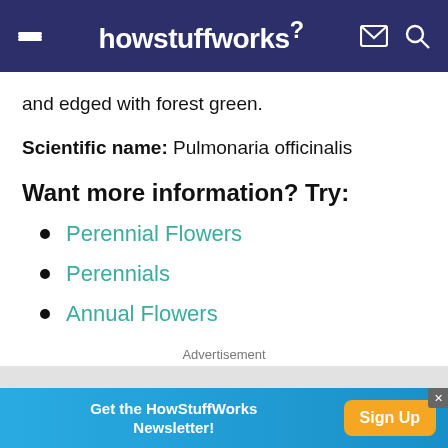howstuffworks
and edged with forest green.
Scientific name: Pulmonaria officinalis
Want more information? Try:
Perennial Flowers
Perennials
Annual Flowers
Advertisement
Get the HowStuffWorks Newsletter! Sign Up